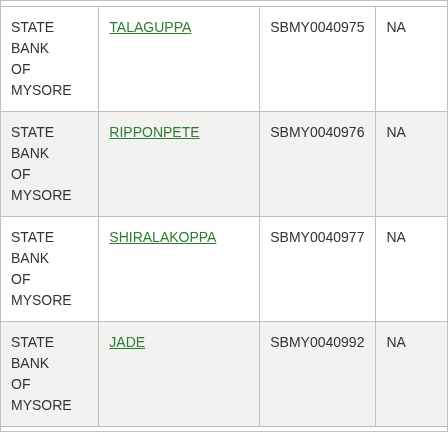| STATE BANK OF MYSORE | TALAGUPPA | SBMY0040975 | NA |
| STATE BANK OF MYSORE | RIPPONPETE | SBMY0040976 | NA |
| STATE BANK OF MYSORE | SHIRALAKOPPA | SBMY0040977 | NA |
| STATE BANK OF MYSORE | JADE | SBMY0040992 | NA |